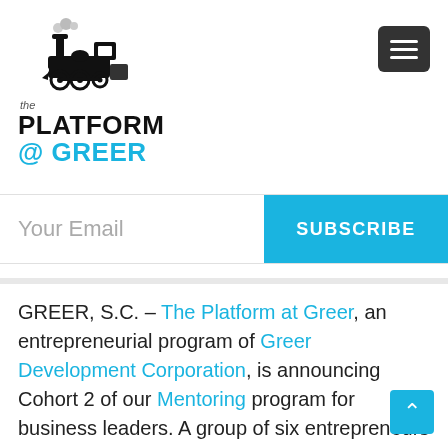[Figure (logo): The Platform at Greer logo: steam locomotive image above text reading 'the PLATFORM @ GREER' with PLATFORM in black and @ GREER in cyan/blue]
Your Email
SUBSCRIBE
GREER, S.C. – The Platform at Greer, an entrepreneurial program of Greer Development Corporation, is announcing Cohort 2 of our Mentoring program for business leaders. A group of six entrepreneurs and small business owners have been matched with Mentors. The participants will receive personalized mentoring over 6 months with their mentors sharing advice on business